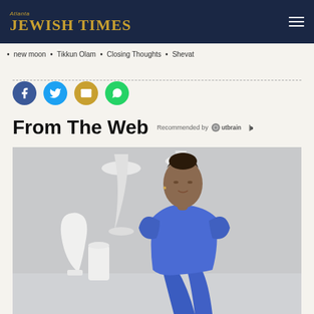Atlanta JEWISH TIMES
new moon • Tikkun Olam • Closing Thoughts • Shevat
[Figure (infographic): Social share buttons: Facebook (blue circle), Twitter (light blue circle), Email (gold circle), WhatsApp (green circle)]
From The Web
Recommended by Outbrain
[Figure (photo): A woman in a blue satin outfit (sleeveless top and shorts) posing in a modern interior setting with white pendant lights, photographed in a relaxed reclined position]